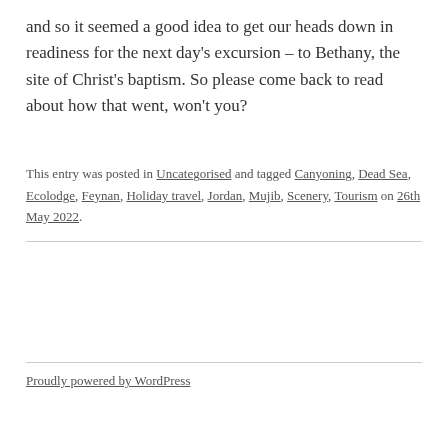and so it seemed a good idea to get our heads down in readiness for the next day's excursion – to Bethany, the site of Christ's baptism. So please come back to read about how that went, won't you?
This entry was posted in Uncategorised and tagged Canyoning, Dead Sea, Ecolodge, Feynan, Holiday travel, Jordan, Mujib, Scenery, Tourism on 26th May 2022.
Proudly powered by WordPress